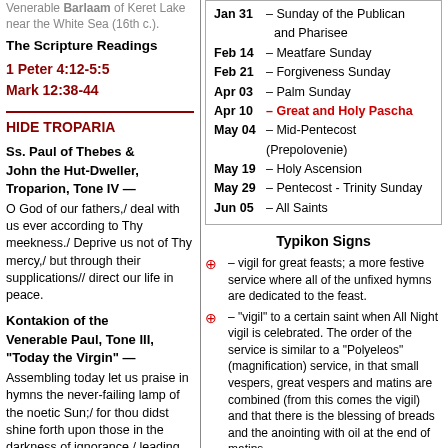Venerable Barlaam of Keret Lake near the White Sea (16th c.).
The Scripture Readings
1 Peter 4:12-5:5
Mark 12:38-44
HIDE TROPARIA
Ss. Paul of Thebes & John the Hut-Dweller, Troparion, Tone IV — O God of our fathers,/ deal with us ever according to Thy meekness./ Deprive us not of Thy mercy,/ but through their supplications// direct our life in peace.
Kontakion of the Venerable Paul, Tone III, "Today the Virgin" — Assembling today let us praise in hymns the never-failing lamp of the noetic Sun;/ for thou didst shine forth upon those in the darkness of ignorance,/ leading all to the divine heights,/ O venerable Paul,
| Jan 31 | – Sunday of the Publican and Pharisee |
| Feb 14 | – Meatfare Sunday |
| Feb 21 | – Forgiveness Sunday |
| Apr 03 | – Palm Sunday |
| Apr 10 | – Great and Holy Pascha |
| May 04 | – Mid-Pentecost (Prepolovenie) |
| May 19 | – Holy Ascension |
| May 29 | – Pentecost - Trinity Sunday |
| Jun 05 | – All Saints |
Typikon Signs
⊕ – vigil for great feasts; a more festive service where all of the unfixed hymns are dedicated to the feast.
⊕ – "vigil" to a certain saint when All Night vigil is celebrated. The order of the service is similar to a "Polyeleos" (magnification) service, in that small vespers, great vespers and matins are combined (from this comes the vigil) and that there is the blessing of breads and the anointing with oil at the end of matins.
+ – "cross", "Polyeleos", "with the Polyeleos", "Polyeleos service", that is the type of service during which the "Polyeleos" (Praise/Magnification) is sung during matins (the majestic singing of the 134 and 135 psalms with verses); in addition, during this service there is a reading from the Gospel, the prokeimenon, gradual antiphons, the canon with 8 troparions,